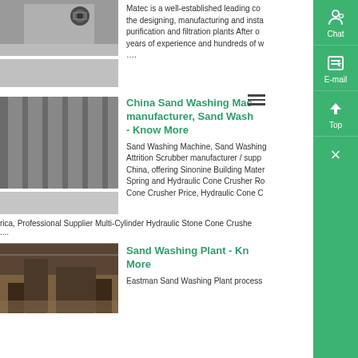[Figure (photo): Close-up photo of a mechanical bolt/fastener on a metal surface]
Matec is a well-established leading company specialized in the designing, manufacturing and installation of water purification and filtration plants After over 30 years of experience and hundreds of w....
[Figure (photo): Close-up of industrial metal grating or screening panel with parallel slots]
[Figure (photo): Gray panel/second image below grating]
China Sand Washing Machine manufacturer, Sand Washing - Know More
Sand Washing Machine, Sand Washing Attrition Scrubber manufacturer / supplier in China, offering Sinonine Building Material Spring and Hydraulic Cone Crusher Rock Cone Crusher Price, Hydraulic Cone C rica, Professional Supplier Multi-Cylinder Hydraulic Stone Cone Crusher....
[Figure (photo): Industrial processing plant interior with large equipment]
Sand Washing Plant - Know More
Eastman Sand Washing Plant process